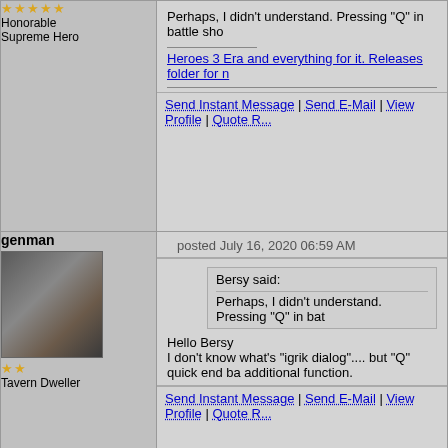| User | Post |
| --- | --- |
| Honorable Supreme Hero (5 stars) | Perhaps, I didn't understand. Pressing "Q" in battle sho...

Heroes 3 Era and everything for it. Releases folder for n...

Send Instant Message | Send E-Mail | View Profile | Quote R... |
| genman
Tavern Dweller (2 stars) | posted July 16, 2020 06:59 AM

Bersy said:
Perhaps, I didn't understand. Pressing "Q" in bat...

Hello Bersy
I don't know what's "igrik dialog".... but "Q" quick end ba... additional function.

Send Instant Message | Send E-Mail | View Profile | Quote R... |
| Bersy
Honorable Supreme Hero (10 stars) | posted July 16, 2020 01:38 PM

igrik implemented same feature in wog native dialogs p... 4.2 version.
See

Heroes 3 Era and everything for it. Releases folder fo... |